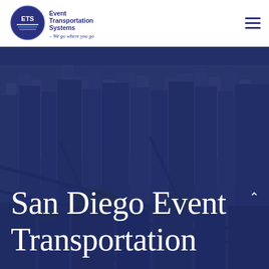[Figure (logo): Event Transportation Systems logo — circular ETS emblem with blue and white design, company name 'Event Transportation Systems' in dark blue, tagline '- We go where you go' in italic blue below]
[Figure (photo): Aerial view of San Diego city downtown with tall buildings, streets, and urban landscape, overlaid with a dark navy blue semi-transparent color wash]
San Diego Event Transportation